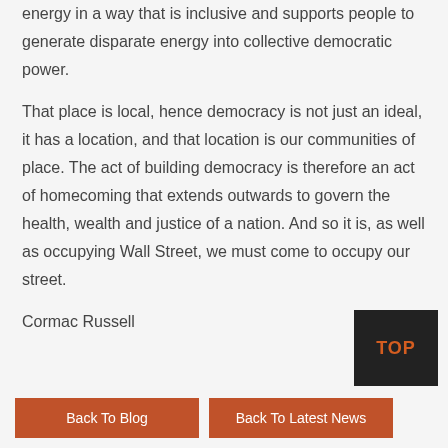energy in a way that is inclusive and supports people to generate disparate energy into collective democratic power.
That place is local, hence democracy is not just an ideal, it has a location, and that location is our communities of place. The act of building democracy is therefore an act of homecoming that extends outwards to govern the health, wealth and justice of a nation. And so it is, as well as occupying Wall Street, we must come to occupy our street.
Cormac Russell
TOP
Back To Blog
Back To Latest News